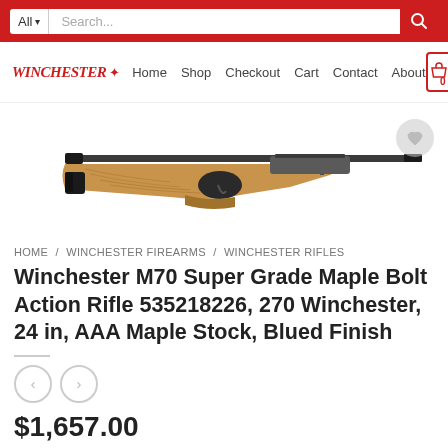All | Search... [search bar]
WINCHESTER | Home  Shop  Checkout  Cart  Contact  About  [Cart: 0]
[Figure (photo): Winchester M70 Super Grade Maple bolt-action rifle with AAA maple wood stock and blued barrel, shown in profile against white background. A wishlist heart button is visible in the top right corner of the image area.]
HOME / WINCHESTER FIREARMS / WINCHESTER RIFLES
Winchester M70 Super Grade Maple Bolt Action Rifle 535218226, 270 Winchester, 24 in, AAA Maple Stock, Blued Finish
$1,657.00